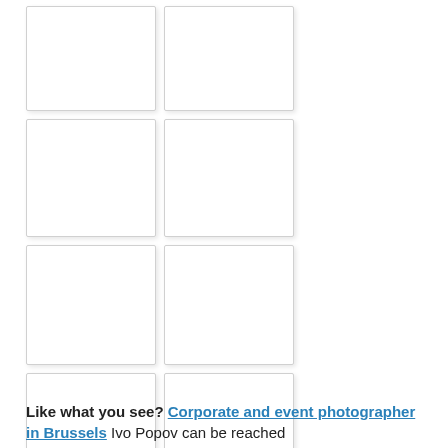[Figure (photo): Grid of 9 placeholder image thumbnails arranged in rows of 2, with a final wide single image at the bottom. All images appear as empty white boxes with light grey borders and subtle shadows.]
Like what you see? Corporate and event photographer in Brussels Ivo Popov can be reached